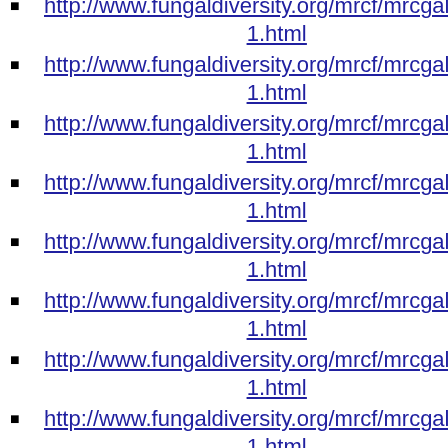http://www.fungaldiversity.org/mrcf/mrcgallery15...1.html
http://www.fungaldiversity.org/mrcf/mrcgallery15...1.html
http://www.fungaldiversity.org/mrcf/mrcgallery15...1.html
http://www.fungaldiversity.org/mrcf/mrcgallery15...1.html
http://www.fungaldiversity.org/mrcf/mrcgallery15...1.html
http://www.fungaldiversity.org/mrcf/mrcgallery15...1.html
http://www.fungaldiversity.org/mrcf/mrcgallery15...1.html
http://www.fungaldiversity.org/mrcf/mrcgallery15...1.html
http://www.fungaldiversity.org/mrcf/mrcgallery15...1.html
http://www.fungaldiversity.org/mrcf/mrcgallery15...1.html
http://www.fungaldiversity.org/mrcf/mrcgallery15...1.html
http://www.fungaldiversity.org/mrcf/mrcgallery15...1.html
Mushroom Research Center| Rules and ...